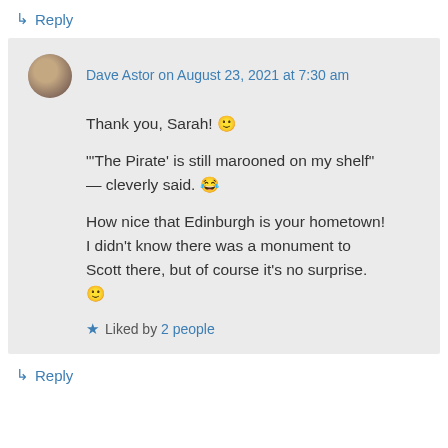↳ Reply
Dave Astor on August 23, 2021 at 7:30 am
Thank you, Sarah! 🙂

"'The Pirate' is still marooned on my shelf" — cleverly said. 😂

How nice that Edinburgh is your hometown! I didn't know there was a monument to Scott there, but of course it's no surprise. 🙂
★ Liked by 2 people
↳ Reply